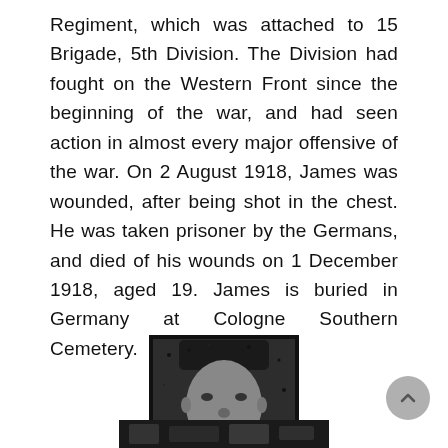Regiment, which was attached to 15 Brigade, 5th Division. The Division had fought on the Western Front since the beginning of the war, and had seen action in almost every major offensive of the war. On 2 August 1918, James was wounded, after being shot in the chest. He was taken prisoner by the Germans, and died of his wounds on 1 December 1918, aged 19. James is buried in Germany at Cologne Southern Cemetery.
[Figure (photo): A grainy black and white halftone portrait photograph of a young man, presumably James, in what appears to be a military uniform.]
[Figure (photo): Partial view of a second photograph at the bottom of the page, showing a dark scene.]